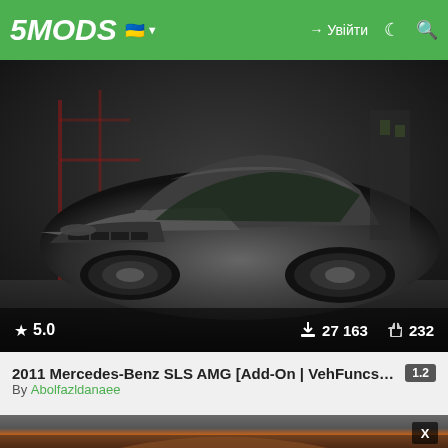5MODS | Увійти
[Figure (photo): Dark grey 2011 Mercedes-Benz SLS AMG sports car photographed from front-left angle in a dark industrial environment. Rating: 5.0, Downloads: 27 163, Likes: 232]
2011 Mercedes-Benz SLS AMG [Add-On | VehFuncs V | ... 1.2
By Abolfazldanaee
[Figure (photo): Orange McLaren supercar photographed from front angle with blurred dark background. Partially visible with X close button overlay.]